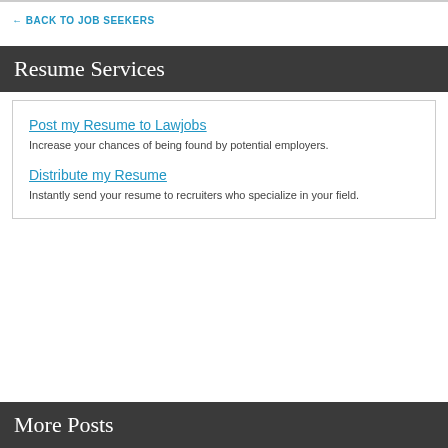← BACK TO JOB SEEKERS
Resume Services
Post my Resume to Lawjobs
Increase your chances of being found by potential employers.
Distribute my Resume
Instantly send your resume to recruiters who specialize in your field.
More Posts